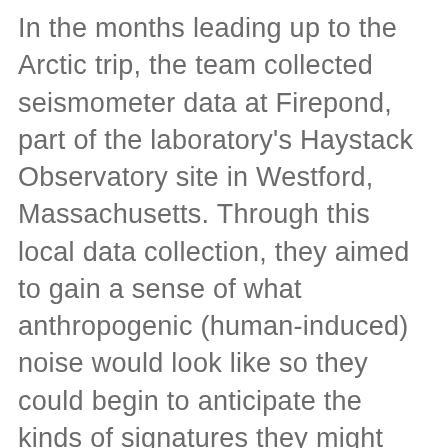In the months leading up to the Arctic trip, the team collected seismometer data at Firepond, part of the laboratory's Haystack Observatory site in Westford, Massachusetts. Through this local data collection, they aimed to gain a sense of what anthropogenic (human-induced) noise would look like so they could begin to anticipate the kinds of signatures they might see in the Arctic. They also collected ice melting/fracturing data during a thaw cycle and correlated these data with the weather conditions (air temperature, humidity, and pressure). Through this analysis, they detected an increase in seismic signals as the temperature rose above 32 F — an indication